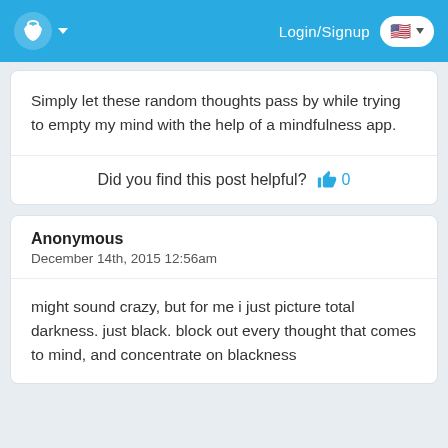Login/Signup
Simply let these random thoughts pass by while trying to empty my mind with the help of a mindfulness app.
Did you find this post helpful? 👍 0
Anonymous
December 14th, 2015 12:56am
might sound crazy, but for me i just picture total darkness. just black. block out every thought that comes to mind, and concentrate on blackness